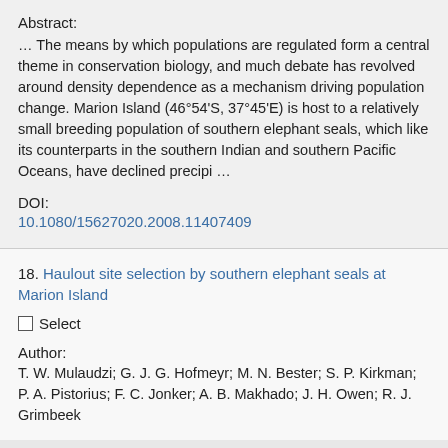Abstract:
… The means by which populations are regulated form a central theme in conservation biology, and much debate has revolved around density dependence as a mechanism driving population change. Marion Island (46°54'S, 37°45'E) is host to a relatively small breeding population of southern elephant seals, which like its counterparts in the southern Indian and southern Pacific Oceans, have declined precipi …
DOI:
10.1080/15627020.2008.11407409
18. Haulout site selection by southern elephant seals at Marion Island
Select
Author:
T. W. Mulaudzi; G. J. G. Hofmeyr; M. N. Bester; S. P. Kirkman; P. A. Pistorius; F. C. Jonker; A. B. Makhado; J. H. Owen; R. J. Grimbeek